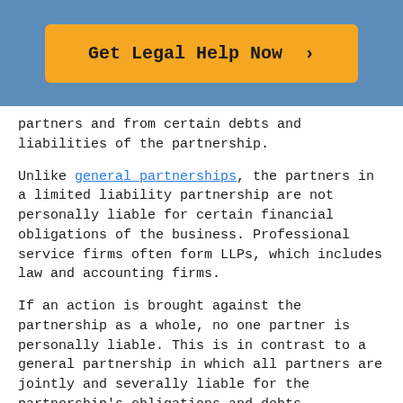[Figure (other): Blue header banner with orange 'Get Legal Help Now >' button]
partners and from certain debts and liabilities of the partnership.
Unlike general partnerships, the partners in a limited liability partnership are not personally liable for certain financial obligations of the business. Professional service firms often form LLPs, which includes law and accounting firms.
If an action is brought against the partnership as a whole, no one partner is personally liable. This is in contrast to a general partnership in which all partners are jointly and severally liable for the partnership's obligations and debts.
An LLP is similar to a general partnership because all of the partners may actively participate in the